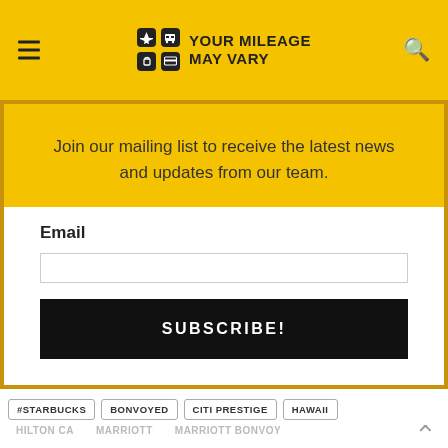YOUR MILEAGE MAY VARY
Join our mailing list to receive the latest news and updates from our team.
Email
SUBSCRIBE!
#STARBUCKS  BONVOYED  CITI PRESTIGE  HAWAII
HILTON CA  MARRIOTT  MARRIOTT BONVOY